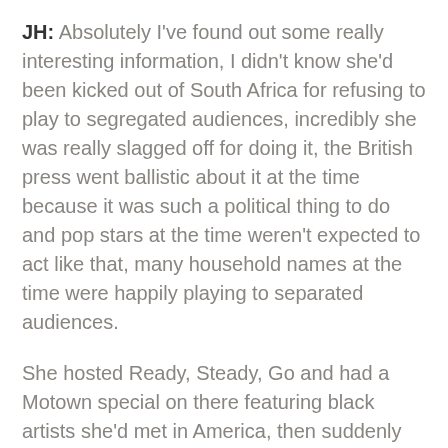JH: Absolutely I've found out some really interesting information, I didn't know she'd been kicked out of South Africa for refusing to play to segregated audiences, incredibly she was really slagged off for doing it, the British press went ballistic about it at the time because it was such a political thing to do and pop stars at the time weren't expected to act like that, many household names at the time were happily playing to separated audiences.
She hosted Ready, Steady, Go and had a Motown special on there featuring black artists she'd met in America, then suddenly after this their careers here took off all thanks to Dusty. Things like that I've found just so interesting, she was a real innovator.